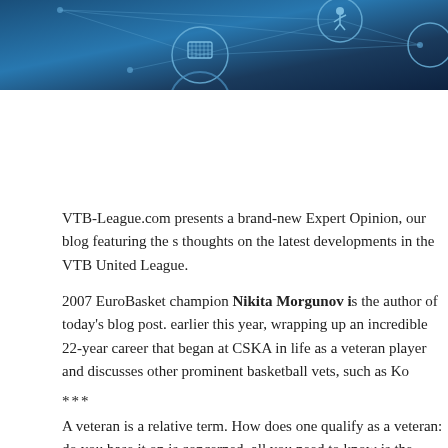[Figure (illustration): Blue basketball-themed banner with circuit/network line graphics and basketball sport icons (hoop, player silhouettes) on a dark blue gradient background.]
VTB-League.com presents a brand-new Expert Opinion, our blog featuring the s thoughts on the latest developments in the VTB United League.
2007 EuroBasket champion Nikita Morgunov is the author of today's blog post. earlier this year, wrapping up an incredible 22-year career that began at CSKA in life as a veteran player and discusses other prominent basketball vets, such as Ko
***
A veteran is a relative term. How does one qualify as a veteran: do you base it on is concerned, all you need to know is the player's date of birth. At the same time, have a long, productive career to be granted veteran status. Sitting on the bench,